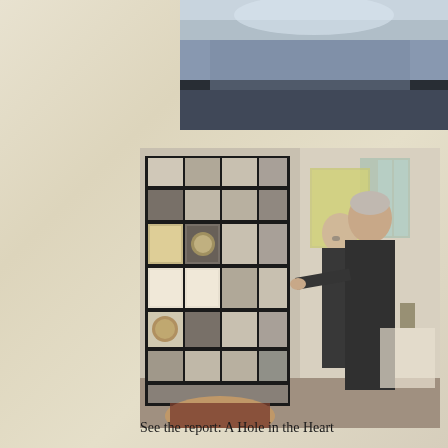[Figure (photo): Top partial photo showing a display room with bluish-gray ceiling/wall lighting]
[Figure (photo): Two older men in dark suits viewing a tall exhibition display board covered with many black and white photographs, documents, medals, and historical images at what appears to be a museum or exhibition. A map is visible on the wall in the background, along with windows. A third person's head is partially visible in the foreground bottom.]
See the report: A Hole in the Heart